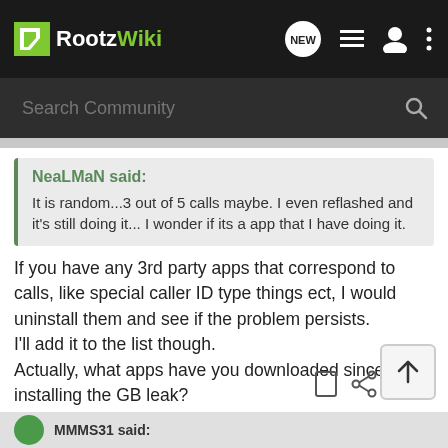[Figure (screenshot): RootzWiki navigation bar with logo, NEW chat bubble icon, list icon, user icon, and three-dot menu]
[Figure (screenshot): Search Community search bar with magnifying glass icon on dark background]
NeaLMaN said:
It is random...3 out of 5 calls maybe. I even reflashed and it's still doing it... I wonder if its a app that I have doing it.
If you have any 3rd party apps that correspond to calls, like special caller ID type things ect, I would uninstall them and see if the problem persists.
I'll add it to the list though.
Actually, what apps have you downloaded since installing the GB leak?
MMMS31 ...